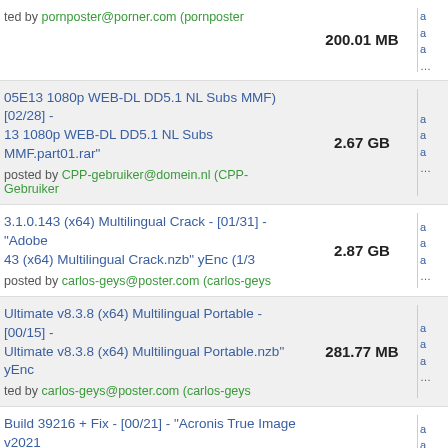200.01 MB | posted by pornposter@porner.com (pornposter
05E13 1080p WEB-DL DD5.1 NL Subs MMF) [02/28] - 13 1080p WEB-DL DD5.1 NL Subs MMF.part01.rar" | 2.67 GB | posted by CPP-gebruiker@domein.nl (CPP-Gebruiker
3.1.0.143 (x64) Multilingual Crack - [01/31] - "Adobe 43 (x64) Multilingual Crack.nzb" yEnc (1/3 | 2.87 GB | posted by carlos-geys@poster.com (carlos-geys
Ultimate v8.3.8 (x64) Multilingual Portable - [00/15] - Ultimate v8.3.8 (x64) Multilingual Portable.nzb" yEnc | 281.77 MB | posted by carlos-geys@poster.com (carlos-geys
Build 39216 + Fix - [00/21] - "Acronis True Image v2021 nc (1/1 | 1.65 GB | posted by nicolass@poster.com (nicolass
8] - "pemPZU9aKG28SXjP.par2" yEnc (1/1 | 303.67 MB | posted by yencbin@poster.com (someone